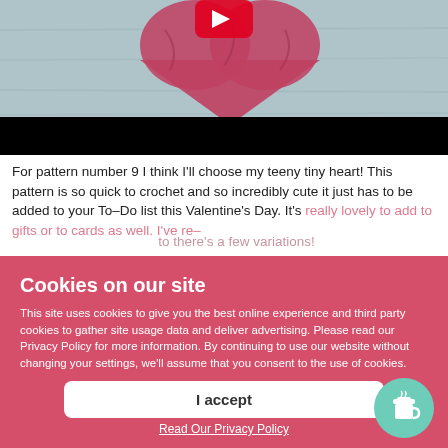[Figure (photo): Crocheted red/pink heart yarn piece on blue-grey wooden background, with a black bar at the bottom (video player).]
For pattern number 9 I think I'll choose my teeny tiny heart! This pattern is so quick to crochet and so incredibly cute it just has to be added to your To–Do list this Valentine's Day. It's really lovely to add to gifts or to cards as well. I've re–   to there's a few variations!
Cookies on our site
This site uses cookies to give you the best online experience and third party cookies to gather site usage data and deliver advertising. Please read our Privacy Policy for more information. By continuing to use our website without changing your settings, we'll assume that you consent to the use of cookies.
I accept
Read Our Privacy Policy